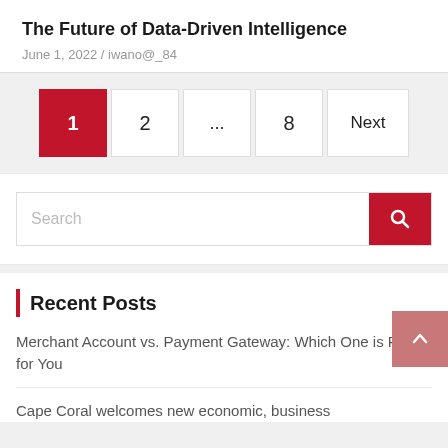The Future of Data-Driven Intelligence
June 1, 2022 / iwano@_84
1  2  ...  8  Next
Search
Recent Posts
Merchant Account vs. Payment Gateway: Which One is Right for You
Cape Coral welcomes new economic, business